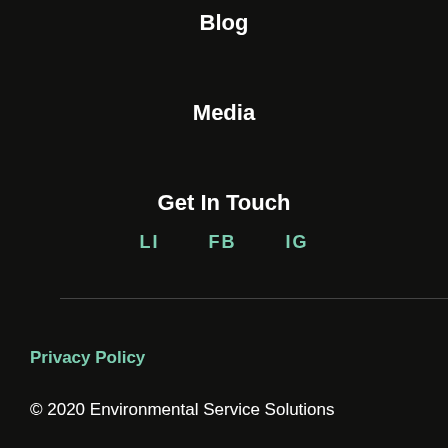Blog
Media
Get In Touch
LI   FB   IG
Privacy Policy
© 2020 Environmental Service Solutions